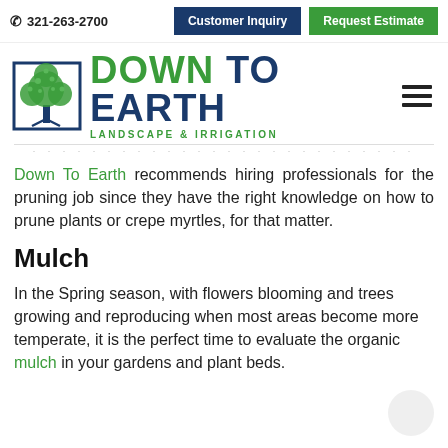321-263-2700  Customer Inquiry  Request Estimate
[Figure (logo): Down To Earth Landscape & Irrigation logo with tree in blue square border and green/blue text]
Down To Earth recommends hiring professionals for the pruning job since they have the right knowledge on how to prune plants or crepe myrtles, for that matter.
Mulch
In the Spring season, with flowers blooming and trees growing and reproducing when most areas become more temperate, it is the perfect time to evaluate the organic mulch in your gardens and plant beds.